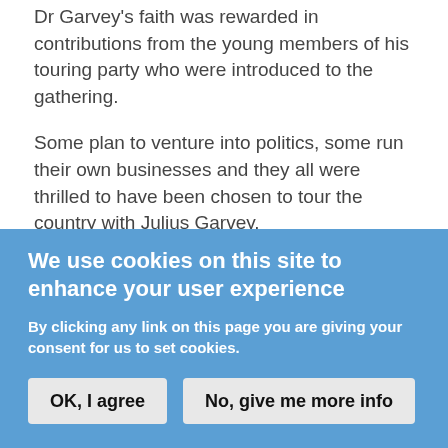Dr Garvey's faith was rewarded in contributions from the young members of his touring party who were introduced to the gathering.
Some plan to venture into politics, some run their own businesses and they all were thrilled to have been chosen to tour the country with Julius Garvey.
Jamel Higgins, student, businessman and elected Young Mayor of Lewisham, is one of the young people on the tour.
“This is someone we look up to in our community and we
We use cookies on this site to enhance your user experience
By clicking any link on this page you are giving your consent for us to set cookies.
OK, I agree
No, give me more info